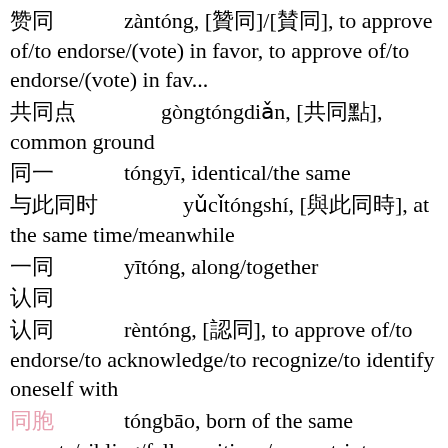赞同　　zàntóng, [贊同]/[賛同], to approve of/to endorse/(vote) in favor, to approve of/to endorse/(vote) in fav...
共同点　　gòngtóngdiǎn, [共同點], common ground
同一　　tóngyī, identical/the same
与此同时　　yǔcǐtóngshí, [與此同時], at the same time/meanwhile
一同　　yītóng, along/together
认同　　rèntóng, [認同], to approve of/to endorse/to acknowledge/to recognize/to identify oneself with
同胞　　tóngbāo, born of the same parents/sibling/fellow citizen/compatriot
同居　　tóngjū, to live together
同行　　tóngháng/tóngxíng, person of the same profession/of the same trade, occupation or industry, to jour...